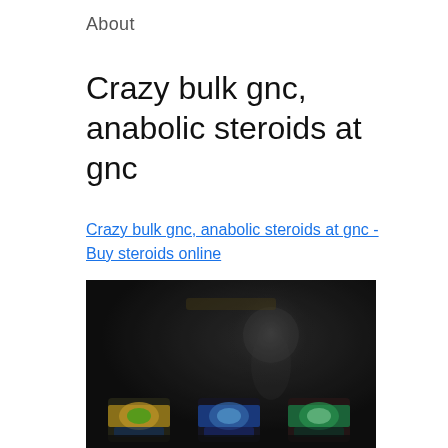About
Crazy bulk gnc, anabolic steroids at gnc
Crazy bulk gnc, anabolic steroids at gnc - Buy steroids online
[Figure (photo): Dark background product advertisement image showing a muscular figure and three supplement product containers at the bottom with colorful labels]